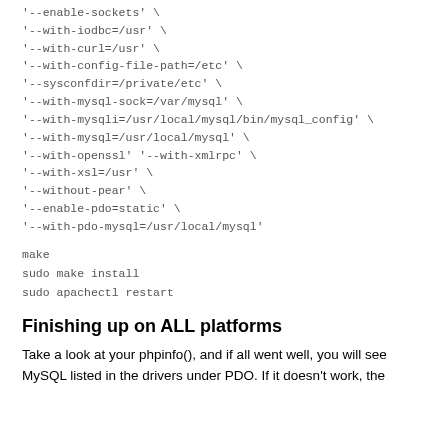'--enable-sockets' \
'--with-iodbc=/usr' \
'--with-curl=/usr' \
'--with-config-file-path=/etc' \
'--sysconfdir=/private/etc' \
'--with-mysql-sock=/var/mysql' \
'--with-mysqli=/usr/local/mysql/bin/mysql_config' \
'--with-mysql=/usr/local/mysql' \
'--with-openssl' '--with-xmlrpc' \
'--with-xsl=/usr' \
'--without-pear' \
'--enable-pdo=static' \
'--with-pdo-mysql=/usr/local/mysql'
make
sudo make install
sudo apachectl restart
Finishing up on ALL platforms
Take a look at your phpinfo(), and if all went well, you will see MySQL listed in the drivers under PDO. If it doesn't work, the